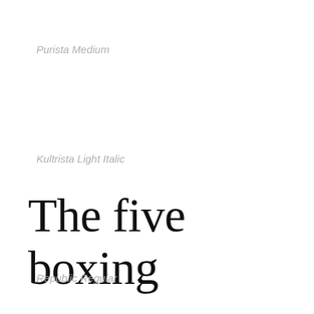Purista Medium
Kultrista Light Italic
The five boxing
Republic Regular